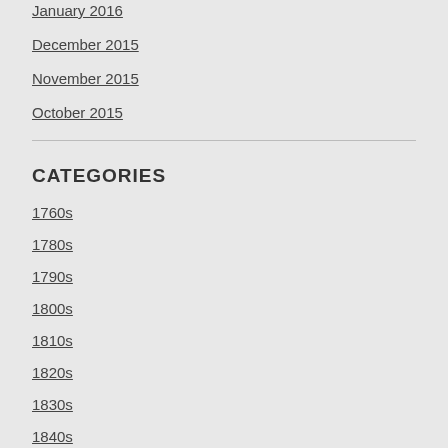January 2016
December 2015
November 2015
October 2015
CATEGORIES
1760s
1780s
1790s
1800s
1810s
1820s
1830s
1840s